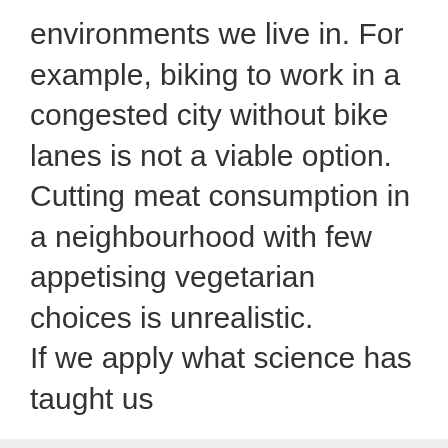environments we live in. For example, biking to work in a congested city without bike lanes is not a viable option. Cutting meat consumption in a neighbourhood with few appetising vegetarian choices is unrealistic.

If we apply what science has taught us
We use cookies
We use cookies and other tracking technologies to improve your browsing experience on our website, to show you personalized content and targeted ads, to analyze our website traffic, and to understand where our visitors are coming from.